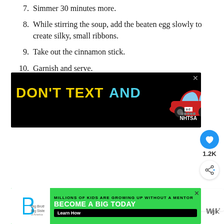7. Simmer 30 minutes more.
8. While stirring the soup, add the beaten egg slowly to create silky, small ribbons.
9. Take out the cinnamon stick.
10. Garnish and serve.
[Figure (other): Advertisement banner: DON'T TEXT AND (drive) - red car emoji - ad NHTSA logo on black background]
[Figure (other): Social interaction buttons: heart/like button (1.2K), share button; What's Next panel showing Moroccan Harira Soup...]
[Figure (other): Advertisement banner: Big Brothers Big Sisters - MILLIONS OF KIDS ARE GROWING UP WITHOUT A MENTOR - BECOME A BIG TODAY - Learn How button on green background]